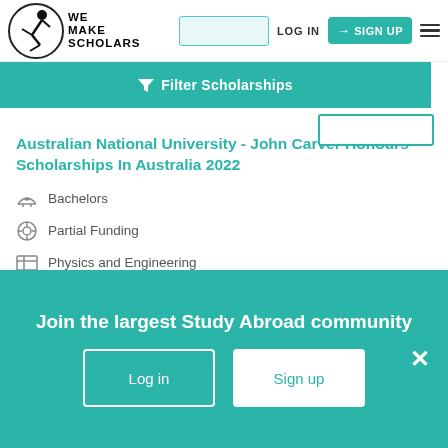[Figure (logo): We Make Scholars logo with circle and figure silhouette]
LOG IN  SIGN UP
Filter Scholarships
Australian National University - John Carver Honours Scholarships In Australia 2022
Bachelors
Partial Funding
Physics and Engineering
Open to all nationals
Australian National University (ANU)
Join the largest Study Abroad community
Log in   Sign up